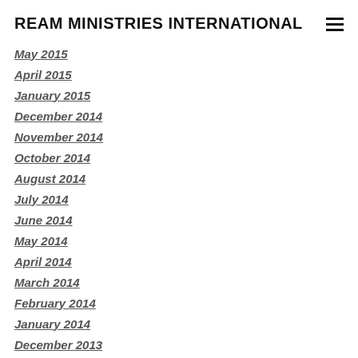REAM MINISTRIES INTERNATIONAL
May 2015
April 2015
January 2015
December 2014
November 2014
October 2014
August 2014
July 2014
June 2014
May 2014
April 2014
March 2014
February 2014
January 2014
December 2013
October 2013
September 2013